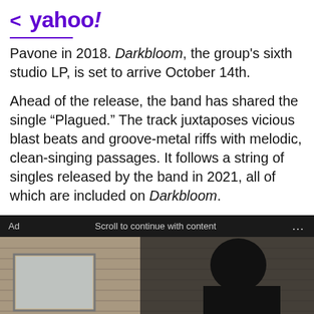< yahoo!
Pavone in 2018. Darkbloom, the group's sixth studio LP, is set to arrive October 14th.
Ahead of the release, the band has shared the single “Plagued.” The track juxtaposes vicious blast beats and groove-metal riffs with melodic, clean-singing passages. It follows a string of singles released by the band in 2021, all of which are included on Darkbloom.
Ad   Scroll to continue with content   ...
[Figure (photo): Advertisement banner showing a person in dark gear/costume on steps outside a building, with a green 'How Much Would' button overlay at the bottom left.]